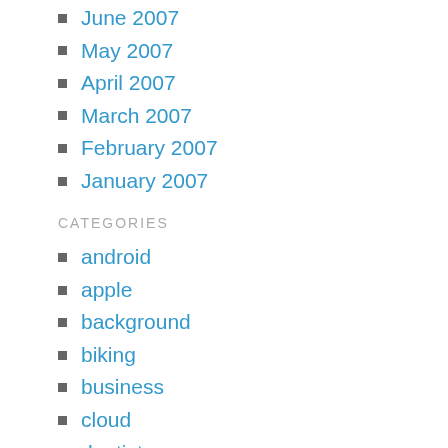June 2007
May 2007
April 2007
March 2007
February 2007
January 2007
CATEGORIES
android
apple
background
biking
business
cloud
dentistry
dentrix
design
drawn
economy
education